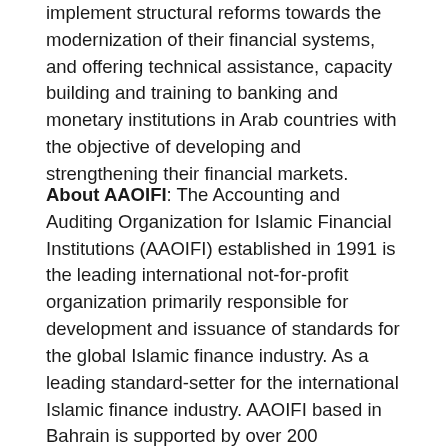implement structural reforms towards the modernization of their financial systems, and offering technical assistance, capacity building and training to banking and monetary institutions in Arab countries with the objective of developing and strengthening their financial markets.
About AAOIFI: The Accounting and Auditing Organization for Islamic Financial Institutions (AAOIFI) established in 1991 is the leading international not-for-profit organization primarily responsible for development and issuance of standards for the global Islamic finance industry. As a leading standard-setter for the international Islamic finance industry. AAOIFI based in Bahrain is supported by over 200 institutional members, including central banks and regulatory authorities, financial institutions, accounting and auditing firms, and legal firms, from over 45 countries. Its standards and technical pronouncements are currently followed by leading Islamic financial institutions across the world and have introduced a progressive degree of harmonization of international Islamic